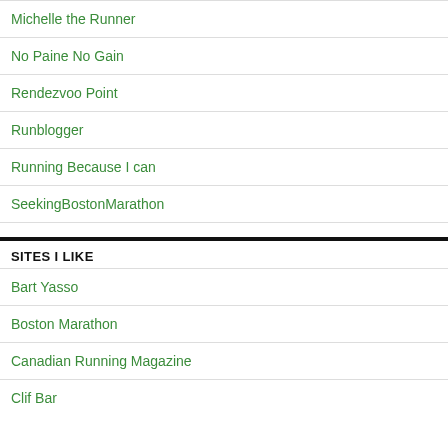Michelle the Runner
No Paine No Gain
Rendezvoo Point
Runblogger
Running Because I can
SeekingBostonMarathon
SITES I LIKE
Bart Yasso
Boston Marathon
Canadian Running Magazine
Clif Bar